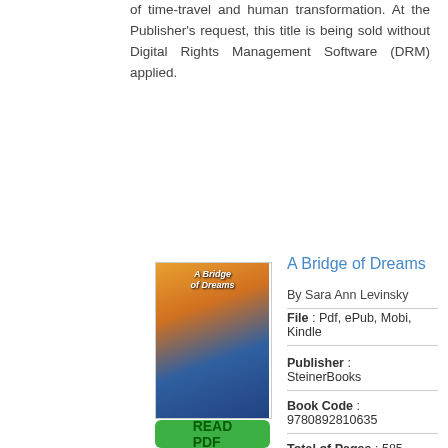of time-travel and human transformation. At the Publisher's request, this title is being sold without Digital Rights Management Software (DRM) applied.
A Bridge of Dreams
By Sara Ann Levinsky
[Figure (illustration): Book cover thumbnail for 'A Bridge of Dreams' with colorful illustrated cover.]
[Figure (other): Green 'READ PDF' button.]
File : Pdf, ePub, Mobi, Kindle
Publisher : SteinerBooks
Book Code : 9780892810635
Total of Pages : 585